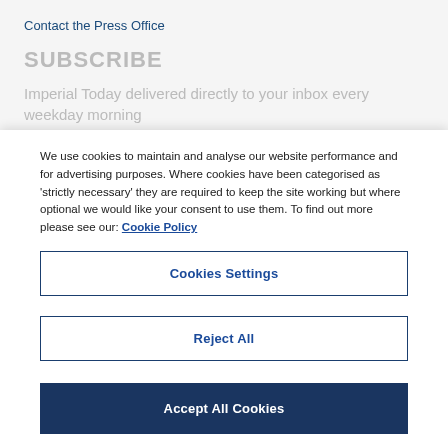Contact the Press Office
SUBSCRIBE
Imperial Today delivered directly to your inbox every weekday morning
We use cookies to maintain and analyse our website performance and for advertising purposes. Where cookies have been categorised as 'strictly necessary' they are required to keep the site working but where optional we would like your consent to use them. To find out more please see our: Cookie Policy
Cookies Settings
Reject All
Accept All Cookies